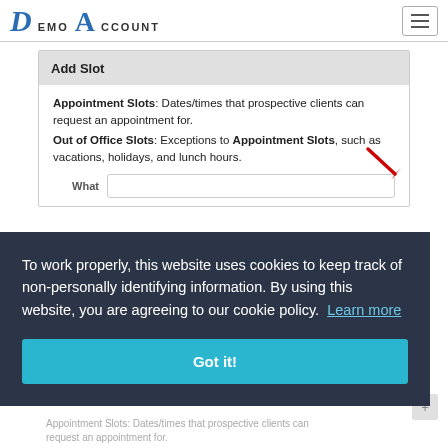Demo Account
Add Slot
Appointment Slots: Dates/times that prospective clients can request an appointment for.
Out of Office Slots: Exceptions to Appointment Slots, such as vacations, holidays, and lunch hours.
[Figure (screenshot): Cookie consent overlay on dark background with text: 'To work properly, this website uses cookies to keep track of non-personally identifying information. By using this website, you are agreeing to our cookie policy. Learn more' and a 'Got it!' teal button.]
To work properly, this website uses cookies to keep track of non-personally identifying information. By using this website, you are agreeing to our cookie policy. Learn more
Got it!
Appointment Slots: Dates/times that prospective clients can request an appointment for.